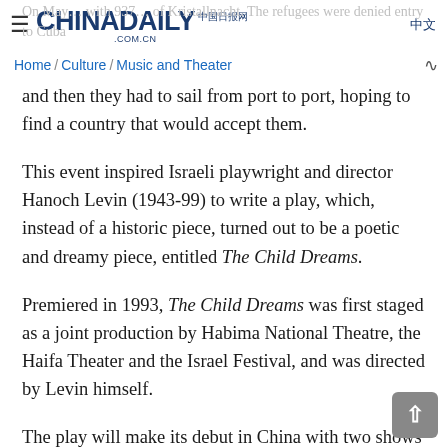CHINADAILY 中国日报网 .COM.CN 中文
Home / Culture / Music and Theater
and then they had to sail from port to port, hoping to find a country that would accept them.
This event inspired Israeli playwright and director Hanoch Levin (1943-99) to write a play, which, instead of a historic piece, turned out to be a poetic and dreamy piece, entitled The Child Dreams.
Premiered in 1993, The Child Dreams was first staged as a joint production by Habima National Theatre, the Haifa Theater and the Israel Festival, and was directed by Levin himself.
The play will make its debut in China with two shows